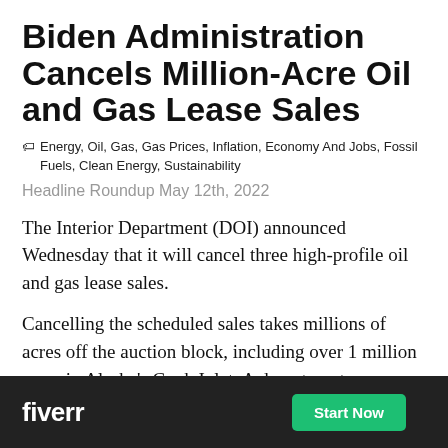Biden Administration Cancels Million-Acre Oil and Gas Lease Sales
Energy, Oil, Gas, Gas Prices, Inflation, Economy And Jobs, Fossil Fuels, Clean Energy, Sustainability
Headline Roundup May 12th, 2022
The Interior Department (DOI) announced Wednesday that it will cancel three high-profile oil and gas lease sales.
Cancelling the scheduled sales takes millions of acres off the auction block, including over 1 million acres in Alaska's Cook Inlet. A department spokesperson said the Alaska lease sale would not proceed due to insufficient industry interest, [Gulf of] [due to]